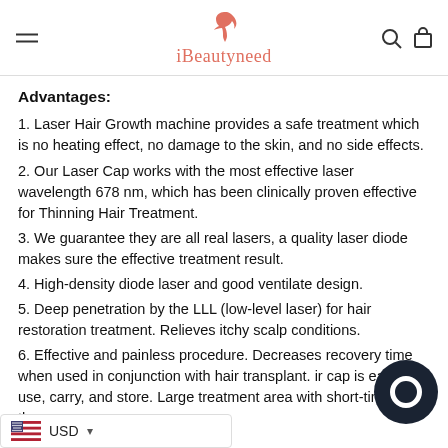iBeautyneed
Advantages:
1. Laser Hair Growth machine provides a safe treatment which is no heating effect, no damage to the skin, and no side effects.
2. Our Laser Cap works with the most effective laser wavelength 678 nm, which has been clinically proven effective for Thinning Hair Treatment.
3. We guarantee they are all real lasers, a quality laser diode makes sure the effective treatment result.
4. High-density diode laser and good ventilate design.
5. Deep penetration by the LLL (low-level laser) for hair restoration treatment. Relieves itchy scalp conditions.
6. Effective and painless procedure. Decreases recovery time when used in conjunction with hair transplant. ir cap is easy to use, carry, and store. Large treatment area with short-time therapy.